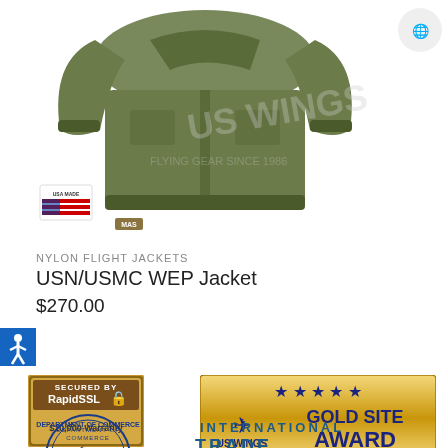[Figure (photo): Military olive green nylon flight jacket (USN/USMC WEP Jacket) displayed on white background with US Wings watermark. Also shows a 'USA Made' flag badge and a small product badge.]
NYLON FLIGHT JACKETS
USN/USMC WEP Jacket
$270.00
[Figure (logo): Accessibility icon button (blue square with white wheelchair figure)]
[Figure (logo): Secured by RapidSSL $10,000 Warranty badge - brown/gold border with RapidSSL logo and lock icon]
[Figure (logo): US Wings Gold Site Award badge - gold background with 5 stars and eagle wings logo, text: GOLD SITE AWARD]
[Figure (logo): Department of Commerce circular seal/stamp in blue]
INTERNATIONAL TRADE